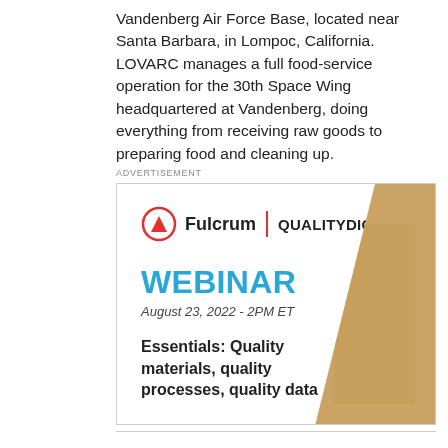Vandenberg Air Force Base, located near Santa Barbara, in Lompoc, California. LOVARC manages a full food-service operation for the 30th Space Wing headquartered at Vandenberg, doing everything from receiving raw goods to preparing food and cleaning up.
ADVERTISEMENT
[Figure (infographic): Advertisement banner for a Fulcrum and Quality Digest webinar. Title: WEBINAR. Date: August 23, 2022 - 2PM ET. Topic: Essentials: Quality materials, quality processes, quality data. Features a logo with a red circle/triangle icon, the word Fulcrum, a red divider bar, and QUALITYDIGEST text. Right side shows a partial photo.]